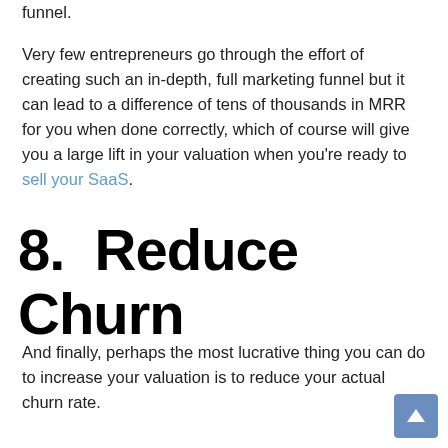funnel.
Very few entrepreneurs go through the effort of creating such an in-depth, full marketing funnel but it can lead to a difference of tens of thousands in MRR for you when done correctly, which of course will give you a large lift in your valuation when you're ready to sell your SaaS.
8.  Reduce Churn
And finally, perhaps the most lucrative thing you can do to increase your valuation is to reduce your actual churn rate.